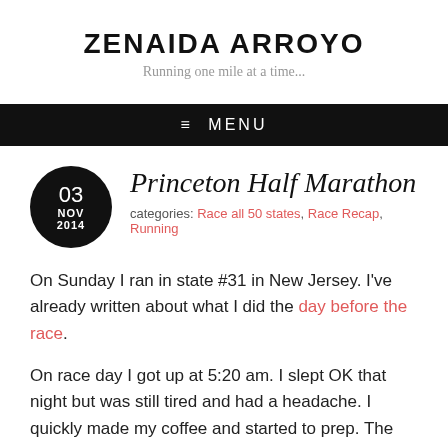ZENAIDA ARROYO
Running one mile at a time...
≡  MENU
Princeton Half Marathon
categories: Race all 50 states, Race Recap, Running
On Sunday I ran in state #31 in New Jersey.  I've already written about what I did the day before the race.
On race day I got up at 5:20 am.  I slept OK that night but was still tired and had a headache.  I quickly made my coffee and started my prep. The night before I had laid...